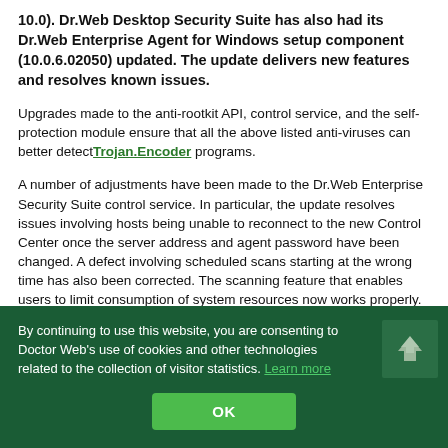10.0). Dr.Web Desktop Security Suite has also had its Dr.Web Enterprise Agent for Windows setup component (10.0.6.02050) updated. The update delivers new features and resolves known issues.
Upgrades made to the anti-rootkit API, control service, and the self-protection module ensure that all the above listed anti-viruses can better detect Trojan.Encoder programs.
A number of adjustments have been made to the Dr.Web Enterprise Security Suite control service. In particular, the update resolves issues involving hosts being unable to reconnect to the new Control Center once the server address and agent password have been changed. A defect involving scheduled scans starting at the wrong time has also been corrected. The scanning feature that enables users to limit consumption of system resources now works properly. Also fixed was an issue involving multiple executions of a task scheduled to occur one time. Furthermore, now if the network
By continuing to use this website, you are consenting to Doctor Web's use of cookies and other technologies related to the collection of visitor statistics. Learn more
OK